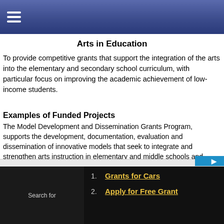Arts in Education
To provide competitive grants that support the integration of the arts into the elementary and secondary school curriculum, with particular focus on improving the academic achievement of low-income students.
Examples of Funded Projects
The Model Development and Dissemination Grants Program, supports the development, documentation, evaluation and dissemination of innovative models that seek to integrate and strengthen arts instruction in elementary and middle schools and improve students; academic in the arts.
The Professional Development for Arts Educators grants achievement, support the development of model professional development programs for music, dance, drama, and visual arts educators.
Grants for this Program
1. Grants for Cars
2. Apply for Free Grant